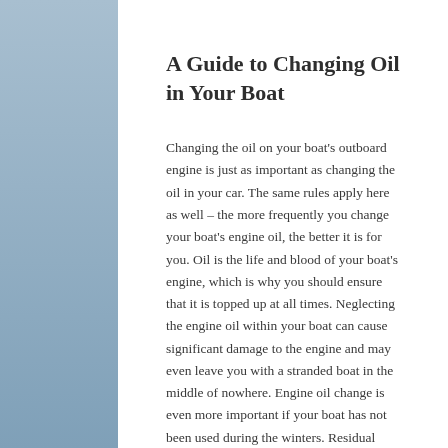A Guide to Changing Oil in Your Boat
Changing the oil on your boat's outboard engine is just as important as changing the oil in your car. The same rules apply here as well – the more frequently you change your boat's engine oil, the better it is for you. Oil is the life and blood of your boat's engine, which is why you should ensure that it is topped up at all times. Neglecting the engine oil within your boat can cause significant damage to the engine and may even leave you with a stranded boat in the middle of nowhere. Engine oil change is even more important if your boat has not been used during the winters. Residual acids and the moisture left in your engine and crankcase during the winter season can destroy vital engine components and can even pit open your bearings. This is one reason why we recommend that you change your boat's engine